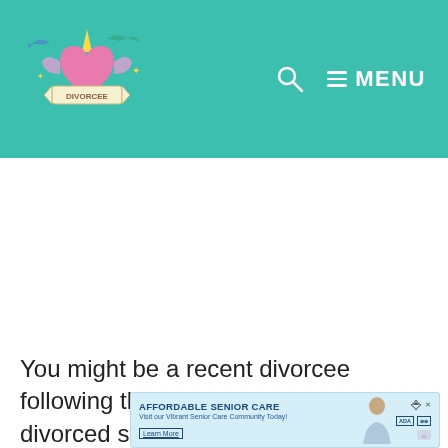MENU
You might be a recent divorcee following the Instagram account of the divorced single mam and following her on the
[Figure (infographic): Advertisement banner for Affordable Senior Care with text 'AFFORDABLE SENIOR CARE - Visit our Vibrant Senior Care Community Today! Learn More' and an image of a senior person with ADA logos]